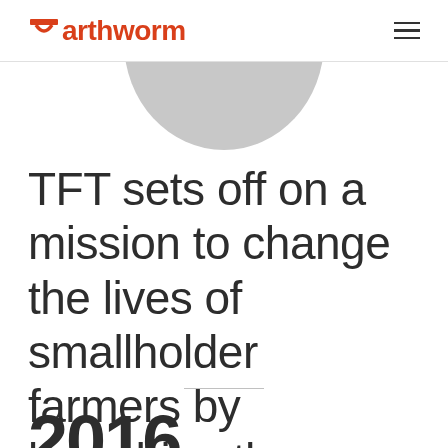Earthworm
[Figure (photo): Partial circular grey image, cropped at top — appears to be a person or portrait photo shown from below the header]
TFT sets off on a mission to change the lives of smallholder farmers by launching the Rurality programme
2016